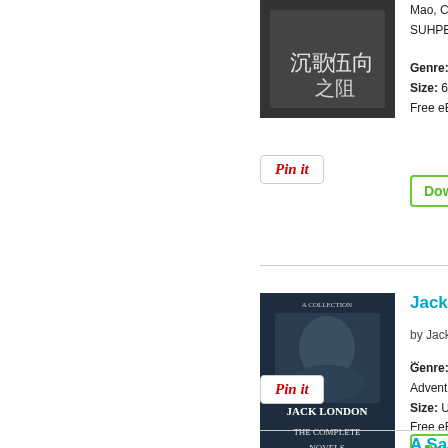[Figure (photo): Book cover with Chinese characters text on a dark background]
Mao, Char... SUHPERZ...
Genre: Art
Size: 69 pa
Free eBoo
[Figure (other): Pin it button]
[Figure (other): Download button]
[Figure (photo): Jack London book cover - The Complete Novels, showing a young man's portrait in dark blue tones]
Jack Lo
by Jack Lo
...
Genre: Art, Adventure,
Size: Unkn
Free eBoo
[Figure (other): Pin it button]
[Figure (other): Download button]
A Sam